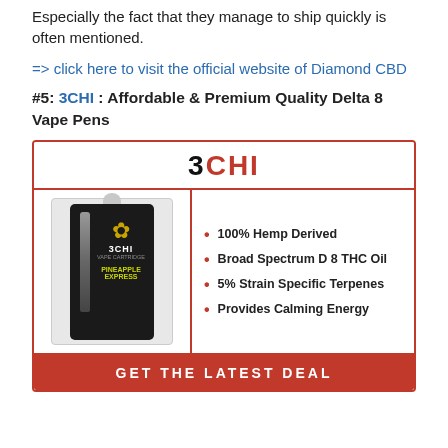Especially the fact that they manage to ship quickly is often mentioned.
=> click here to visit the official website of Diamond CBD
#5: 3CHI : Affordable & Premium Quality Delta 8 Vape Pens
[Figure (infographic): 3CHI product card with logo header, product image of Pineapple Express vape cartridge, feature bullet points (100% Hemp Derived, Broad Spectrum D 8 THC Oil, 5% Strain Specific Terpenes, Provides Calming Energy), and a red GET THE LATEST DEAL call-to-action button.]
100% Hemp Derived
Broad Spectrum D 8 THC Oil
5% Strain Specific Terpenes
Provides Calming Energy